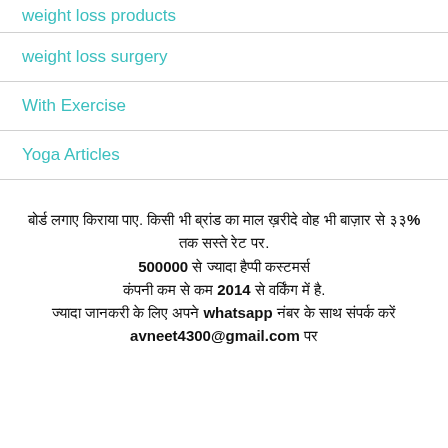weight loss products
weight loss surgery
With Exercise
Yoga Articles
बोर्ड लगाए किराया पाए. किसी भी ब्रांड का माल ख़रीदे वोह भी बाज़ार से ३३% तक सस्ते रेट पर. 500000 से ज्यादा हैप्पी कस्टमर्स कंपनी कम से कम 2014 से वर्किंग में है. ज्यादा जानकरी के लिए अपने whatsapp नंबर के साथ संपर्क करें avneet4300@gmail.com पर